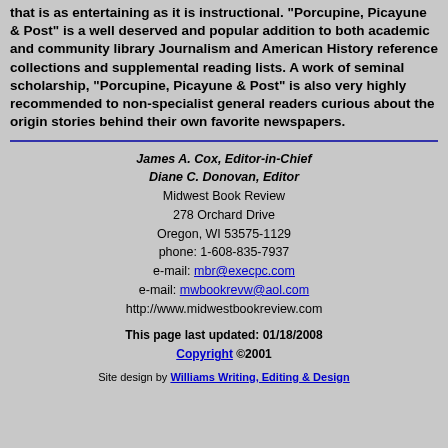that is as entertaining as it is instructional. "Porcupine, Picayune & Post" is a well deserved and popular addition to both academic and community library Journalism and American History reference collections and supplemental reading lists. A work of seminal scholarship, "Porcupine, Picayune & Post" is also very highly recommended to non-specialist general readers curious about the origin stories behind their own favorite newspapers.
James A. Cox, Editor-in-Chief
Diane C. Donovan, Editor
Midwest Book Review
278 Orchard Drive
Oregon, WI 53575-1129
phone: 1-608-835-7937
e-mail: mbr@execpc.com
e-mail: mwbookrevw@aol.com
http://www.midwestbookreview.com
This page last updated: 01/18/2008
Copyright ©2001
Site design by Williams Writing, Editing & Design